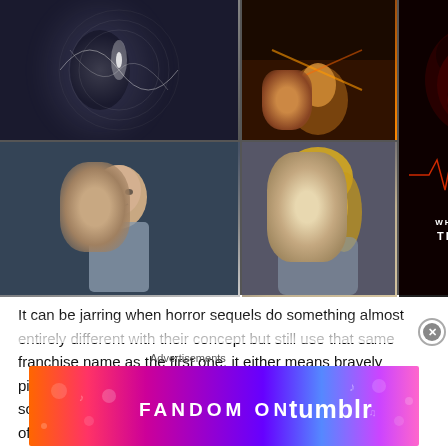[Figure (photo): A collage of movie stills from White Noise 2: The Light. Top-left: dark swirling vortex scene. Middle-top: dark action scene. Bottom-left: a man with dark background. Middle-bottom: blonde woman close-up. Right column: movie poster for White Noise: The Light featuring glowing red eye and movie title text.]
It can be jarring when horror sequels do something almost entirely different with their concept but still use that same franchise name as the first one, it either means bravely pioneering new ground or gravely deviating from an already solid blueprint into a morass of sideshow muck. In the case of White Noise 2: The Light I couldn't tell you which of those two categories it fits into because it was such a confounding, nonsensical story I really didn't make too much sense of any of it, so
Advertisements
[Figure (photo): Advertisement banner for Fandom on Tumblr. Colorful gradient background (orange to purple) with decorative icons and bold white text reading FANDOM ON tumblr.]